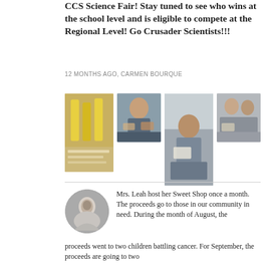CCS Science Fair! Stay tuned to see who wins at the school level and is eligible to compete at the Regional Level! Go Crusader Scientists!!!
12 MONTHS AGO, CARMEN BOURQUE
[Figure (photo): Four photos of students at the CCS Science Fair working at tables with science fair projects]
Mrs. Leah host her Sweet Shop once a month. The proceeds go to those in our community in need. During the month of August, the proceeds went to two children battling cancer. For September, the proceeds are going to two